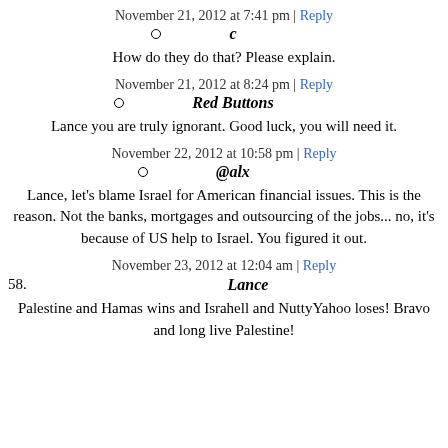November 21, 2012 at 7:41 pm | Reply
c
How do they do that? Please explain.
November 21, 2012 at 8:24 pm | Reply
Red Buttons
Lance you are truly ignorant. Good luck, you will need it.
November 22, 2012 at 10:58 pm | Reply
@alx
Lance, let's blame Israel for American financial issues. This is the reason. Not the banks, mortgages and outsourcing of the jobs... no, it's because of US help to Israel. You figured it out.
November 23, 2012 at 12:04 am | Reply
Lance
Palestine and Hamas wins and Israhell and NuttyYahoo loses! Bravo and long live Palestine!